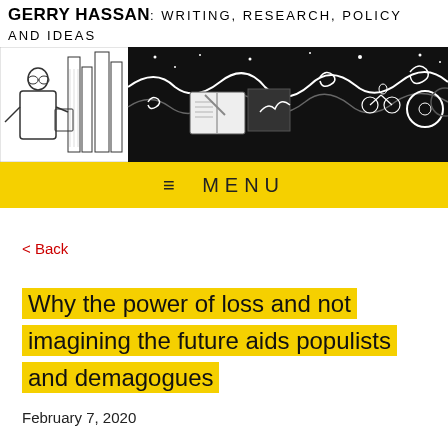GERRY HASSAN: WRITING, RESEARCH, POLICY AND IDEAS
[Figure (illustration): Black and white illustrated banner showing a man in suit with cityscape, swirling clouds, stars, an open book, a bird, a person on a bicycle, and decorative motifs]
≡  MENU
< Back
Why the power of loss and not imagining the future aids populists and demagogues
February 7, 2020